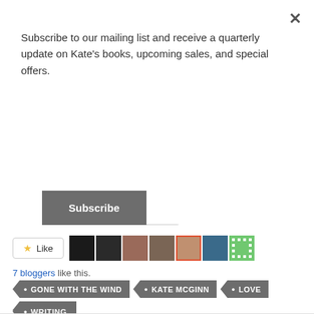Subscribe to our mailing list and receive a quarterly update on Kate's books, upcoming sales, and special offers.
Subscribe
[Figure (screenshot): Social share bar with Tweet, Save (Pinterest), and More buttons]
[Figure (screenshot): Like button with star icon and 7 blogger avatar thumbnails]
7 bloggers like this.
GONE WITH THE WIND
KATE MCGINN
LOVE
READING
WRITING